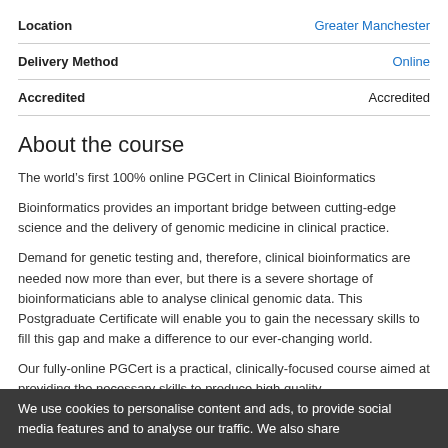| Field | Value |
| --- | --- |
| Location | Greater Manchester |
| Delivery Method | Online |
| Accredited | Accredited |
About the course
The world’s first 100% online PGCert in Clinical Bioinformatics
Bioinformatics provides an important bridge between cutting-edge science and the delivery of genomic medicine in clinical practice.
Demand for genetic testing and, therefore, clinical bioinformatics are needed now more than ever, but there is a severe shortage of bioinformaticians able to analyse clinical genomic data. This Postgraduate Certificate will enable you to gain the necessary skills to fill this gap and make a difference to our ever-changing world.
Our fully-online PGCert is a practical, clinically-focused course aimed at providing the necessary skills to produce high quality
We use cookies to personalise content and ads, to provide social media features and to analyse our traffic. We also share